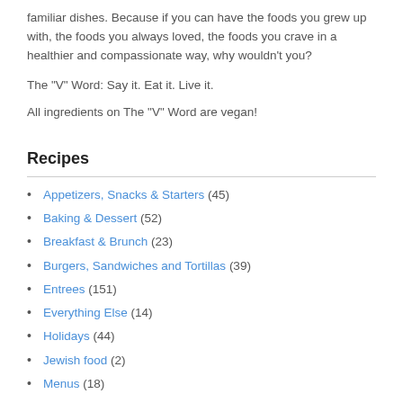familiar dishes. Because if you can have the foods you grew up with, the foods you always loved, the foods you crave in a healthier and compassionate way, why wouldn't you?
The "V" Word: Say it. Eat it. Live it.
All ingredients on The "V" Word are vegan!
Recipes
Appetizers, Snacks & Starters (45)
Baking & Dessert (52)
Breakfast & Brunch (23)
Burgers, Sandwiches and Tortillas (39)
Entrees (151)
Everything Else (14)
Holidays (44)
Jewish food (2)
Menus (18)
Pasta Dishes (29)